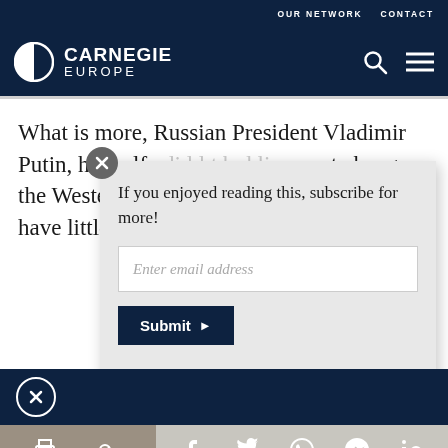OUR NETWORK   CONTACT
[Figure (logo): Carnegie Europe logo with semicircle icon, white on dark navy background]
What is more, Russian President Vladimir Putin, himself a little hard line, cannot change the Western circumstances have little
If you enjoyed reading this, subscribe for more!
Enter email address
Submit
Print | Share | Facebook | Twitter | WhatsApp | Messenger | LinkedIn